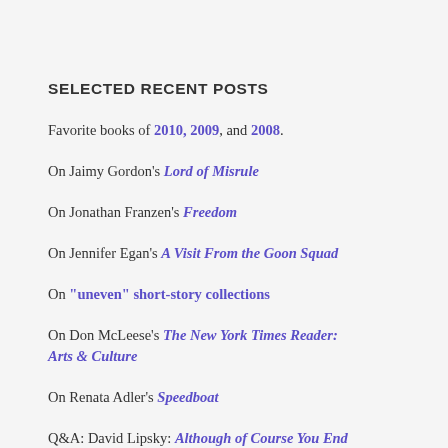SELECTED RECENT POSTS
Favorite books of 2010, 2009, and 2008.
On Jaimy Gordon's Lord of Misrule
On Jonathan Franzen's Freedom
On Jennifer Egan's A Visit From the Goon Squad
On "uneven" short-story collections
On Don McLeese's The New York Times Reader: Arts & Culture
On Renata Adler's Speedboat
Q&A: David Lipsky: Although of Course You End